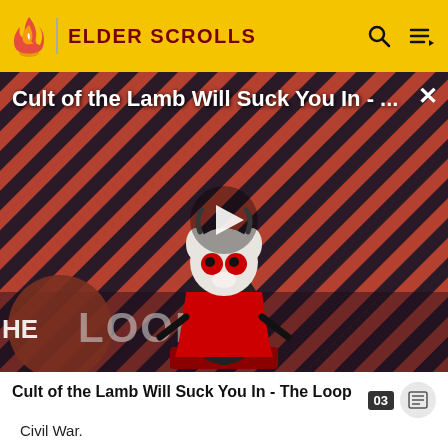ELDER SCROLLS
[Figure (screenshot): Video thumbnail for 'Cult of the Lamb Will Suck You In - The Loop' showing a cartoon lamb character on a striped red/dark background with 'THE LOOP' text and a play button overlay]
Cult of the Lamb Will Suck You In - The Loop
Civil War.
If the Civil War is completed before "Season Unending," the peace conference will not be held, and the later quest will not occur.